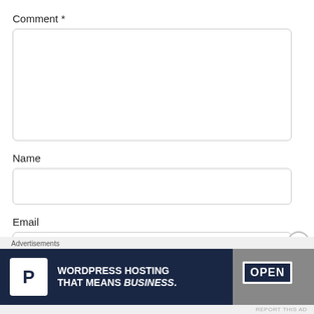Comment *
[Figure (screenshot): Empty textarea input box for comment]
Name
[Figure (screenshot): Empty single-line input box for name]
Email
[Figure (screenshot): Empty single-line input box for email]
Advertisements
[Figure (screenshot): Advertisement banner: WordPress Hosting That Means Business with P logo and Open sign image]